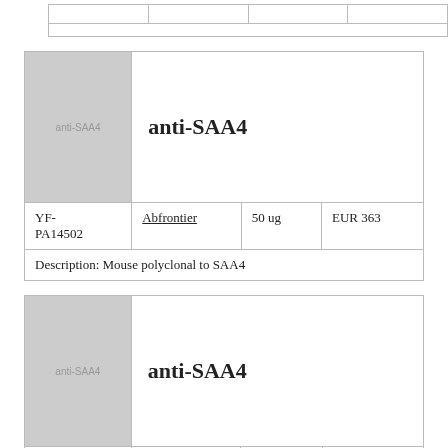|  |  |  |  |
| anti-SAA4 (image) | anti-SAA4 |  |  |
| YF-PA14502 | Abfrontier | 50 ug | EUR 363 |
| Description: Mouse polyclonal to SAA4 |  |  |  |
| anti-SAA4 (image) | anti-SAA4 |  |  |
| YF-PA14503 | Abfrontier | 100 ul | EUR 403 |